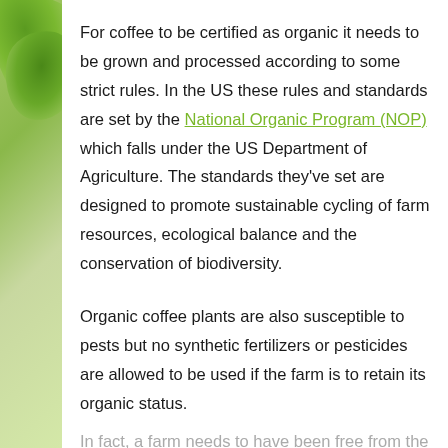For coffee to be certified as organic it needs to be grown and processed according to some strict rules. In the US these rules and standards are set by the National Organic Program (NOP) which falls under the US Department of Agriculture. The standards they've set are designed to promote sustainable cycling of farm resources, ecological balance and the conservation of biodiversity.
Organic coffee plants are also susceptible to pests but no synthetic fertilizers or pesticides are allowed to be used if the farm is to retain its organic status.
In fact, a farm needs to have been free from the use of synthetic pesticides and fertilizers for thro...